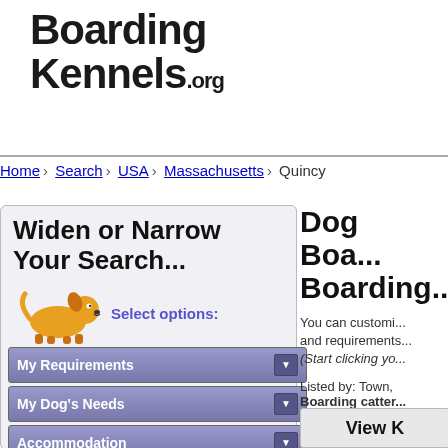[Figure (logo): BoardingKennels.org logo in bold black text]
Home › Search › USA › Massachusetts › Quincy
Widen or Narrow Your Search...
[Figure (illustration): Yellow cartoon dog illustration]
Select options:
My Requirements
My Dog's Needs
Accommodation
Caregiving
Dog Boa... Boarding...
You can customi... and requirements... (Start clicking yo...
Listed by: Town, Boarding catter...
[Figure (screenshot): View K button/box partially visible]